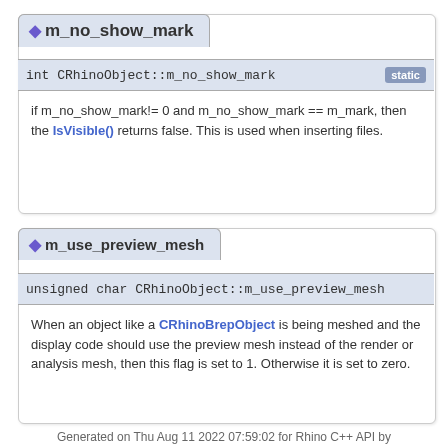◆ m_no_show_mark
int CRhinoObject::m_no_show_mark [static]
if m_no_show_mark!= 0 and m_no_show_mark == m_mark, then the IsVisible() returns false. This is used when inserting files.
◆ m_use_preview_mesh
unsigned char CRhinoObject::m_use_preview_mesh
When an object like a CRhinoBrepObject is being meshed and the display code should use the preview mesh instead of the render or analysis mesh, then this flag is set to 1. Otherwise it is set to zero.
Generated on Thu Aug 11 2022 07:59:02 for Rhino C++ API by